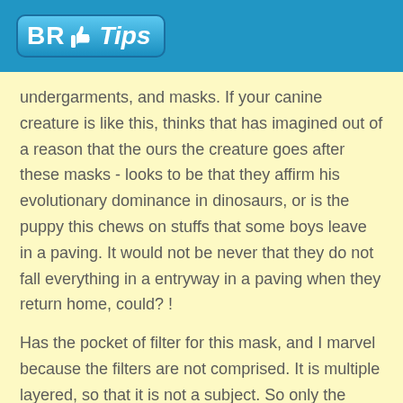BR Tips
undergarments, and masks. If your canine creature is like this, thinks that has imagined out of a reason that the ours the creature goes after these masks - looks to be that they affirm his evolutionary dominance in dinosaurs, or is the puppy this chews on stuffs that some boys leave in a paving. It would not be never that they do not fall everything in a entryway in a paving when they return home, could? !
Has the pocket of filter for this mask, and I marvel because the filters are not comprised. It is multiple layered, so that it is not a subject. So only the